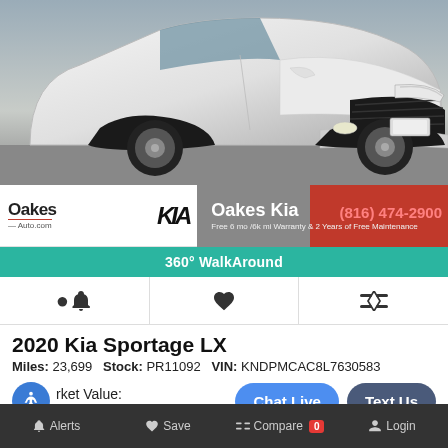[Figure (photo): Front view of white 2020 Kia Sportage LX SUV on dealer lot]
Oakes Kia | (816) 474-2900 | Free 6 mo /6k mi Warranty & 2 Years of Free Maintenance
360° WalkAround
2020 Kia Sportage LX
Miles: 23,699   Stock: PR11092   VIN: KNDPMCAC8L7630583
Market Value:
Personalized Incentives
Chat Live   Text Us
Oakes Price: $30,000
Alerts   Save   Compare 0   Login